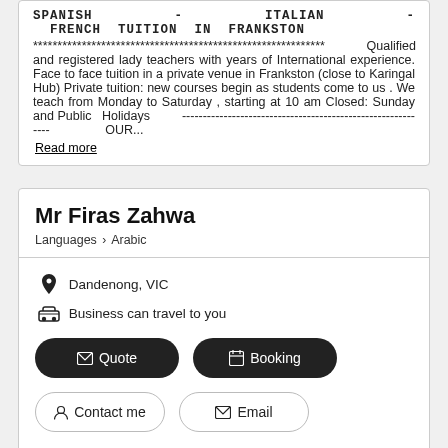SPANISH - ITALIAN - FRENCH TUITION IN FRANKSTON ******************************************************************** Qualified and registered lady teachers with years of International experience. Face to face tuition in a private venue in Frankston (close to Karingal Hub) Private tuition: new courses begin as students come to us . We teach from Monday to Saturday , starting at 10 am Closed: Sunday and Public Holidays ------------------------------------------------------------ OUR...
Read more
Mr Firas Zahwa
Languages > Arabic
Dandenong, VIC
Business can travel to you
Quote
Booking
Contact me
Email